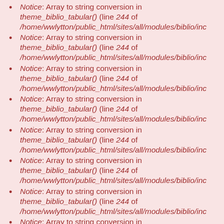Notice: Array to string conversion in theme_biblio_tabular() (line 244 of /home/wwlytton/public_html/sites/all/modules/biblio/inc
Notice: Array to string conversion in theme_biblio_tabular() (line 244 of /home/wwlytton/public_html/sites/all/modules/biblio/inc
Notice: Array to string conversion in theme_biblio_tabular() (line 244 of /home/wwlytton/public_html/sites/all/modules/biblio/inc
Notice: Array to string conversion in theme_biblio_tabular() (line 244 of /home/wwlytton/public_html/sites/all/modules/biblio/inc
Notice: Array to string conversion in theme_biblio_tabular() (line 244 of /home/wwlytton/public_html/sites/all/modules/biblio/inc
Notice: Array to string conversion in theme_biblio_tabular() (line 244 of /home/wwlytton/public_html/sites/all/modules/biblio/inc
Notice: Array to string conversion in theme_biblio_tabular() (line 244 of /home/wwlytton/public_html/sites/all/modules/biblio/inc
Notice: Array to string conversion in